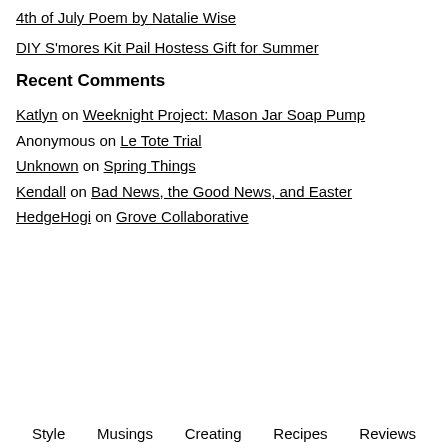4th of July Poem by Natalie Wise
DIY S'mores Kit Pail Hostess Gift for Summer
Recent Comments
Katlyn on Weeknight Project: Mason Jar Soap Pump
Anonymous on Le Tote Trial
Unknown on Spring Things
Kendall on Bad News, the Good News, and Easter
HedgeHogi on Grove Collaborative
Style   Musings   Creating   Recipes   Reviews